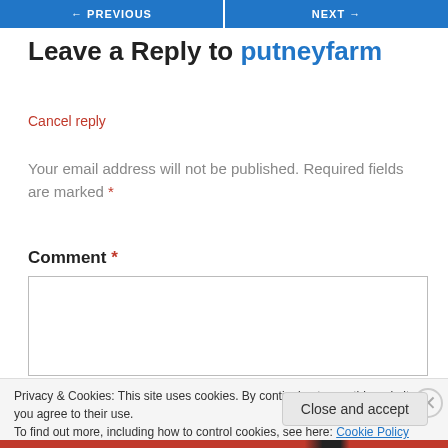← PREVIOUS   NEXT →
Leave a Reply to putneyfarm
Cancel reply
Your email address will not be published. Required fields are marked *
Comment *
Privacy & Cookies: This site uses cookies. By continuing to use this website, you agree to their use.
To find out more, including how to control cookies, see here: Cookie Policy
Close and accept